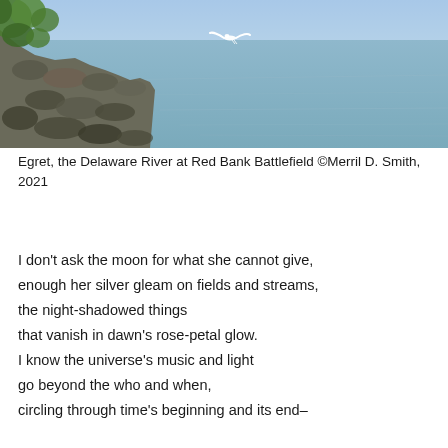[Figure (photo): A photograph of a white egret in flight over the Delaware River at Red Bank Battlefield. Rocky shoreline with green foliage visible on the left; calm blue-grey water fills most of the frame. Bright sunny day with blue sky.]
Egret, the Delaware River at Red Bank Battlefield ©Merril D. Smith, 2021
I don't ask the moon for what she cannot give,
enough her silver gleam on fields and streams,
the night-shadowed things
that vanish in dawn's rose-petal glow.
I know the universe's music and light
go beyond the who and when,
circling through time's beginning and its end–